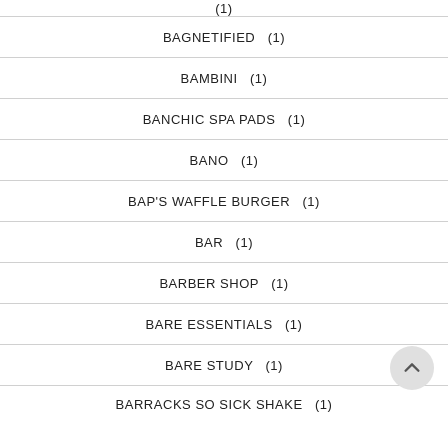(1)
BAGNETIFIED  (1)
BAMBINI  (1)
BANCHIC SPA PADS  (1)
BANO  (1)
BAP'S WAFFLE BURGER  (1)
BAR  (1)
BARBER SHOP  (1)
BARE ESSENTIALS  (1)
BARE STUDY  (1)
BARRACKS SO SICK SHAKE  (1)